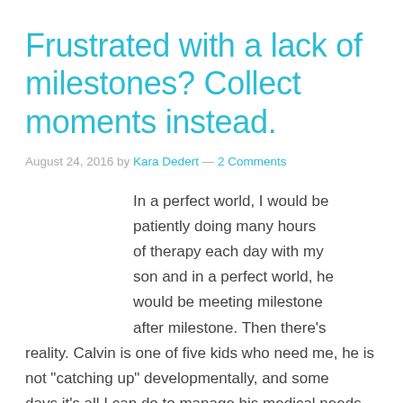Frustrated with a lack of milestones? Collect moments instead.
August 24, 2016 by Kara Dedert — 2 Comments
In a perfect world, I would be patiently doing many hours of therapy each day with my son and in a perfect world, he would be meeting milestone after milestone. Then there's reality. Calvin is one of five kids who need me, he is not "catching up" developmentally, and some days it's all I can do to manage his medical needs